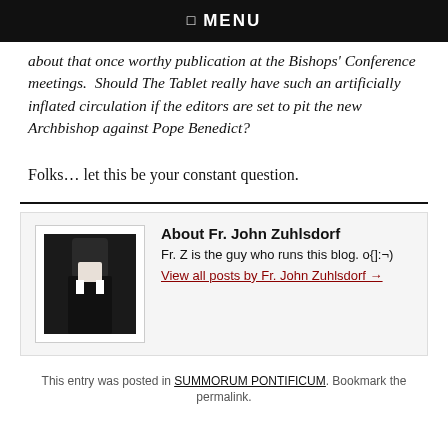☰  MENU
about that once worthy publication at the Bishops' Conference meetings.  Should The Tablet really have such an artificially inflated circulation if the editors are set to pit the new Archbishop against Pope Benedict?
Folks… let this be your constant question.
About Fr. John Zuhlsdorf
Fr. Z is the guy who runs this blog. o{]:¬)
View all posts by Fr. John Zuhlsdorf →
This entry was posted in SUMMORUM PONTIFICUM. Bookmark the permalink.